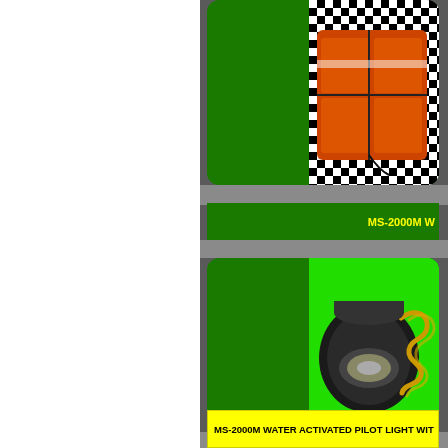[Figure (photo): Product card showing an orange water-activated survival/signaling kit against a black and white checkerboard background, displayed on a dark green rounded rectangle card]
MS-2000M W
[Figure (photo): Product card showing a black pilot light device with gold/yellow coiled wire/spring against a bright green background, displayed on a dark green rounded rectangle card]
MS-2000M  WATER ACTIVATED PILOT LIGHT WIT